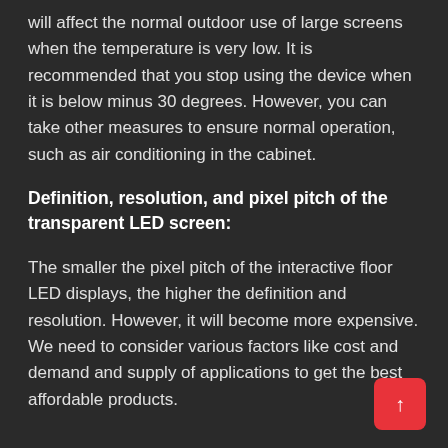will affect the normal outdoor use of large screens when the temperature is very low. It is recommended that you stop using the device when it is below minus 30 degrees. However, you can take other measures to ensure normal operation, such as air conditioning in the cabinet.
Definition, resolution, and pixel pitch of the transparent LED screen:
The smaller the pixel pitch of the interactive floor LED displays, the higher the definition and resolution. However, it will become more expensive. We need to consider various factors like cost and demand and supply of applications to get the best affordable products.